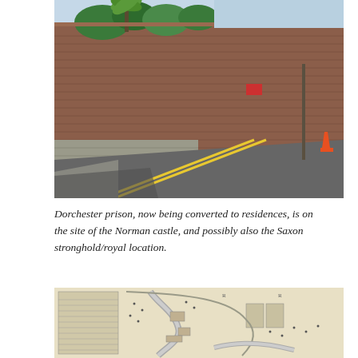[Figure (photo): Photograph of a tall red brick prison wall alongside a road with yellow double lines. Trees and vegetation are visible above the wall. A traffic cone is visible on the right side.]
Dorchester prison, now being converted to residences, is on the site of the Norman castle, and possibly also the Saxon stronghold/royal location.
[Figure (map): Historical black and white map showing the layout of Dorchester prison and surrounding area, with building outlines, pathways, and plot boundaries.]